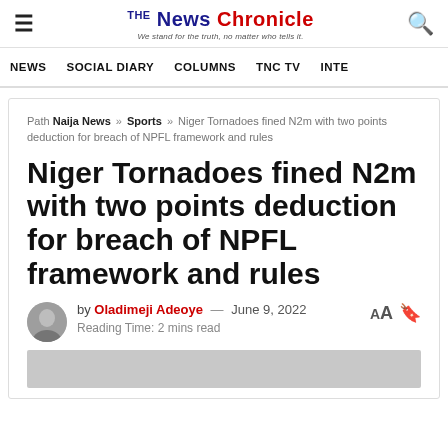The News Chronicle — We stand for the truth, no matter who tells it.
NEWS   SOCIAL DIARY   COLUMNS   TNC TV   INTE
Path Naija News » Sports » Niger Tornadoes fined N2m with two points deduction for breach of NPFL framework and rules
Niger Tornadoes fined N2m with two points deduction for breach of NPFL framework and rules
by Oladimeji Adeoye — June 9, 2022
Reading Time: 2 mins read
[Figure (photo): Partial view of article image at bottom of page]